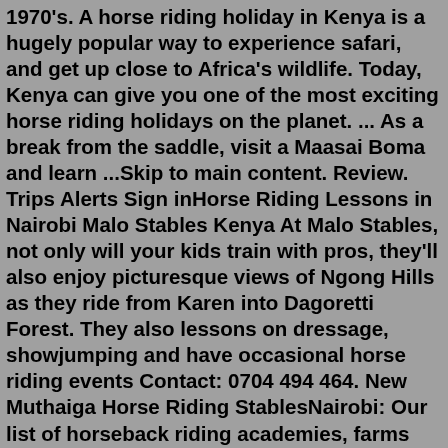1970's. A horse riding holiday in Kenya is a hugely popular way to experience safari, and get up close to Africa's wildlife. Today, Kenya can give you one of the most exciting horse riding holidays on the planet. ... As a break from the saddle, visit a Maasai Boma and learn ...Skip to main content. Review. Trips Alerts Sign inHorse Riding Lessons in Nairobi Malo Stables Kenya At Malo Stables, not only will your kids train with pros, they'll also enjoy picturesque views of Ngong Hills as they ride from Karen into Dagoretti Forest. They also lessons on dressage, showjumping and have occasional horse riding events Contact: 0704 494 464. New Muthaiga Horse Riding StablesNairobi: Our list of horseback riding academies, farms and stables! Saddle up! Surf through our offers for horseback riding in the region of Nairobi. These are all entries, we have for you in this region. Take some riding lessons, learn horseback riding or go for guided horse riding tour with one of our horseback riding stables or riding schools in Nairobi. Miss your own entry in Nairobi? You run a riding school or a...